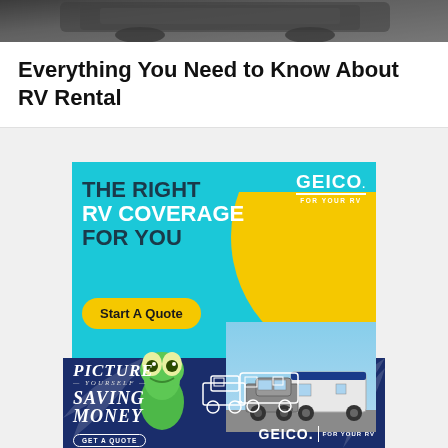[Figure (photo): Top portion of a photo showing an RV/motorhome vehicle from the front, dark colored, partially cropped at top of page]
Everything You Need to Know About RV Rental
[Figure (illustration): GEICO insurance advertisement with teal background. Text reads 'THE RIGHT RV COVERAGE FOR YOU' with a 'Start A Quote' yellow button. GEICO logo top right with 'FOR YOUR RV'. Features the GEICO gecko character and a truck towing an RV, with a large yellow circle arc design element.]
[Figure (illustration): GEICO advertisement with dark navy blue background. Text reads 'PICTURE YOURSELF SAVING MONEY' with 'GET A QUOTE' button. Right side shows white line illustration of a truck towing an RV. GEICO logo with 'FOR YOUR RV' text at bottom right. Palm leaf design in background.]